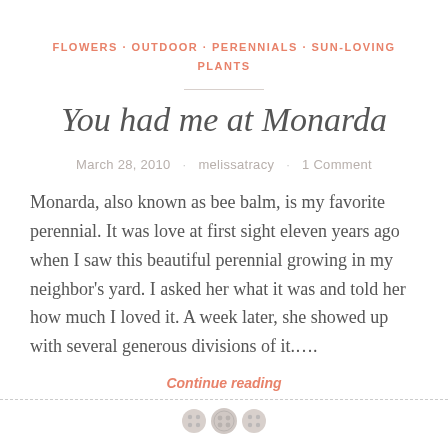FLOWERS · OUTDOOR · PERENNIALS · SUN-LOVING PLANTS
You had me at Monarda
March 28, 2010 · melissatracy · 1 Comment
Monarda, also known as bee balm, is my favorite perennial.  It was love at first sight eleven years ago when I saw this beautiful perennial growing in my neighbor's yard.  I asked her what it was and told her how much I loved it.  A week later, she showed up with several generous divisions of it....
Continue reading